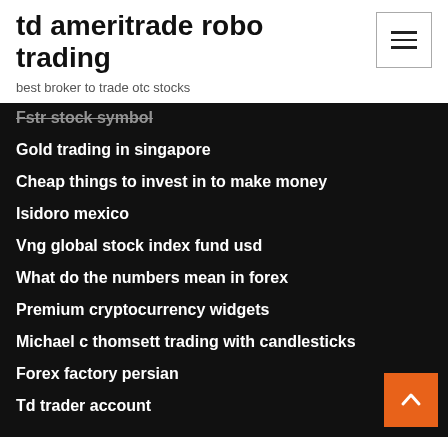td ameritrade robo trading
best broker to trade otc stocks
Fstr stock symbol
Gold trading in singapore
Cheap things to invest in to make money
Isidoro mexico
Vng global stock index fund usd
What do the numbers mean in forex
Premium cryptocurrency widgets
Michael c thomsett trading with candlesticks
Forex factory persian
Td trader account